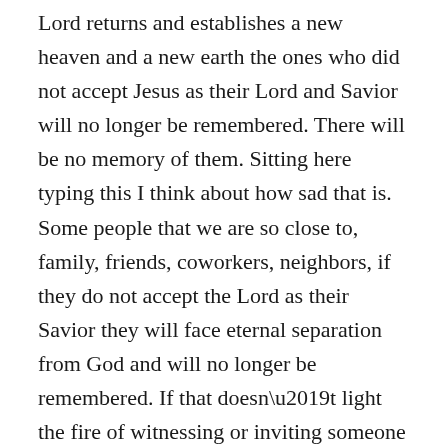Lord returns and establishes a new heaven and a new earth the ones who did not accept Jesus as their Lord and Savior will no longer be remembered. There will be no memory of them. Sitting here typing this I think about how sad that is. Some people that we are so close to, family, friends, coworkers, neighbors, if they do not accept the Lord as their Savior they will face eternal separation from God and will no longer be remembered. If that doesn't light the fire of witnessing or inviting someone to church I don't know what will.
What side of the “but” are you on? Have you been made righteous by accepting God’s gift of salvation? Is the Lord watching over you and waiting to hear you cry out